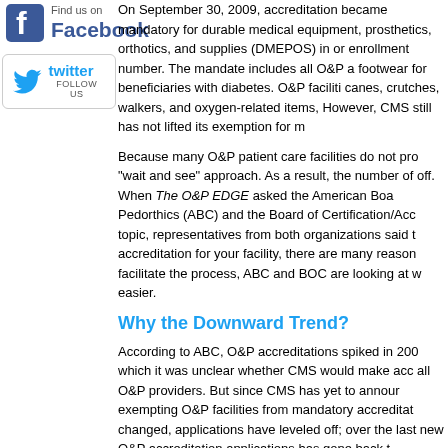[Figure (logo): Facebook logo with 'Find us on Facebook' text]
[Figure (logo): Twitter bird logo with 'twitter FOLLOW US' in a rounded box]
On September 30, 2009, accreditation became mandatory for durable medical equipment, prosthetics, orthotics, and supplies (DMEPOS) in order to receive a Medicare billing enrollment number. The mandate includes all O&P and also therapeutic shoes and footwear for beneficiaries with diabetes. O&P facilities are exempt from accreditation for canes, crutches, walkers, and oxygen-related items. However, CMS still has not lifted its exemption for m
Because many O&P patient care facilities do not pro "wait and see" approach. As a result, the number of off. When The O&P EDGE asked the American Boa Pedorthics (ABC) and the Board of Certification/Acc topic, representatives from both organizations said t accreditation for your facility, there are many reason facilitate the process, ABC and BOC are looking at w easier.
Why the Downward Trend?
According to ABC, O&P accreditations spiked in 200 which it was unclear whether CMS would make acc all O&P providers. But since CMS has yet to annour exempting O&P facilities from mandatory accreditat changed, applications have leveled off; over the last new O&P accreditation applications has gone back t Catherine A. Carter, ABC's executive director.